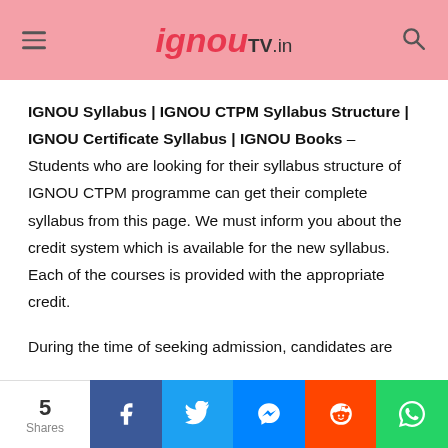ignouTV.in
IGNOU Syllabus | IGNOU CTPM Syllabus Structure | IGNOU Certificate Syllabus | IGNOU Books
Students who are looking for their syllabus structure of IGNOU CTPM programme can get their complete syllabus from this page. We must inform you about the credit system which is available for the new syllabus. Each of the courses is provided with the appropriate credit.
During the time of seeking admission, candidates are